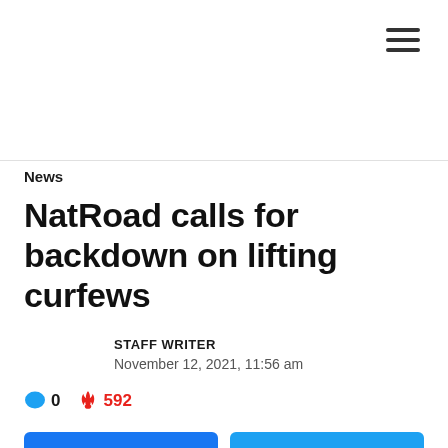News
NatRoad calls for backdown on lifting curfews
STAFF WRITER
November 12, 2021, 11:56 am
0  592